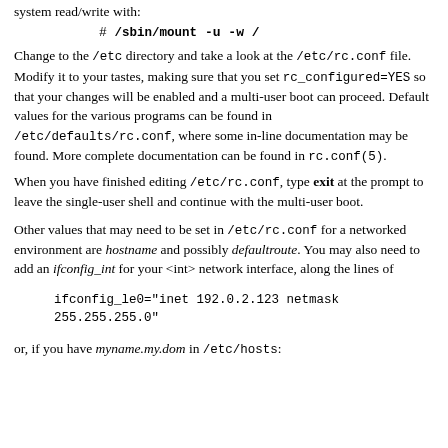system read/write with:
# /sbin/mount -u -w /
Change to the /etc directory and take a look at the /etc/rc.conf file. Modify it to your tastes, making sure that you set rc_configured=YES so that your changes will be enabled and a multi-user boot can proceed. Default values for the various programs can be found in /etc/defaults/rc.conf, where some in-line documentation may be found. More complete documentation can be found in rc.conf(5).
When you have finished editing /etc/rc.conf, type exit at the prompt to leave the single-user shell and continue with the multi-user boot.
Other values that may need to be set in /etc/rc.conf for a networked environment are hostname and possibly defaultroute. You may also need to add an ifconfig_int for your <int> network interface, along the lines of
ifconfig_le0="inet 192.0.2.123 netmask 255.255.255.0"
or, if you have myname.my.dom in /etc/hosts: